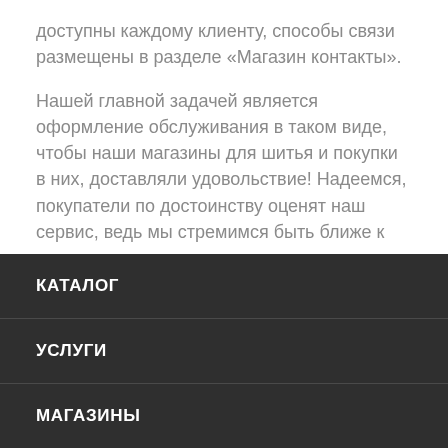доступны каждому клиенту, способы связи размещены в разделе «Магазин контакты».
Нашей главной задачей является оформление обслуживания в таком виде, чтобы наши магазины для шитья и покупки в них, доставляли удовольствие! Надеемся, покупатели по достоинству оценят наш сервис, ведь мы стремимся быть ближе к ним и всячески заинтересовывать.
КАТАЛОГ
УСЛУГИ
МАГАЗИНЫ